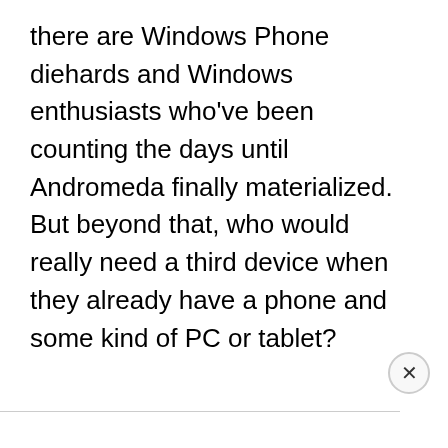there are Windows Phone diehards and Windows enthusiasts who've been counting the days until Andromeda finally materialized. But beyond that, who would really need a third device when they already have a phone and some kind of PC or tablet?